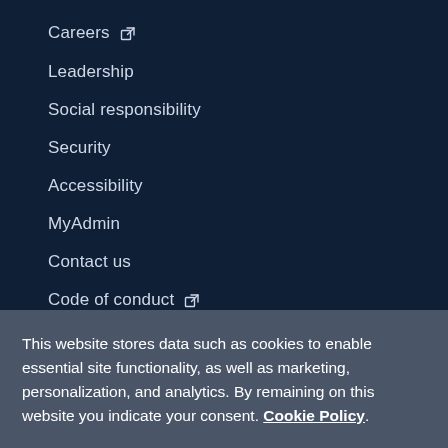Careers [external link]
Leadership
Social responsibility
Security
Accessibility
MyAdmin
Contact us
Code of conduct [external link]
This website stores data such as cookies to enable essential site functionality, as well as marketing, personalization, and analytics. By remaining on this website you indicate your consent. Cookie Policy.